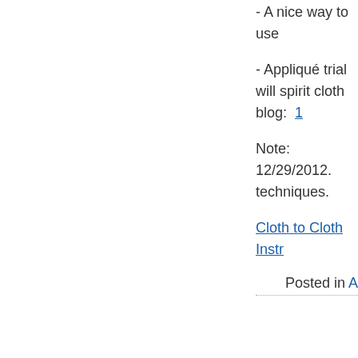- A nice way to use
- Appliqué trial will spirit cloth blog:  1
Note:  12/29/2012. techniques.
Cloth to Cloth Instr
Posted in A